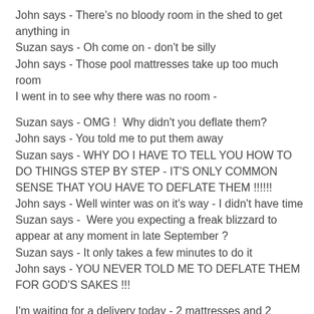John says - There's no bloody room in the shed to get anything in
Suzan says - Oh come on - don't be silly
John says - Those pool mattresses take up too much room
I went in to see why there was no room -
Suzan says - OMG !  Why didn't you deflate them?
John says - You told me to put them away
Suzan says - WHY DO I HAVE TO TELL YOU HOW TO DO THINGS STEP BY STEP - IT'S ONLY COMMON SENSE THAT YOU HAVE TO DEFLATE THEM !!!!!!
John says - Well winter was on it's way - I didn't have time
Suzan says -  Were you expecting a freak blizzard to appear at any moment in late September ?
Suzan says - It only takes a few minutes to do it
John says - YOU NEVER TOLD ME TO DEFLATE THEM FOR GOD'S SAKES !!!
I'm waiting for a delivery today - 2 mattresses and 2 loungers to replace the ones that were destroyed by all the wood he threw on top of them.